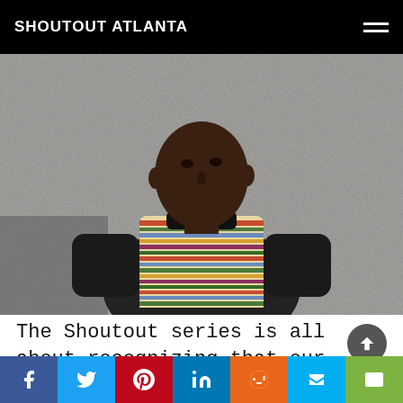SHOUTOUT ATLANTA
[Figure (photo): A Black man in a colorful striped bomber jacket with black leather sleeves leaning against a concrete wall, looking to the side]
The Shoutout series is all about recognizing that our success and where we are in life is at least somewhat thanks to the efforts, support, mentorship, love and encouragement of othe
Social share bar: Facebook, Twitter, Pinterest, LinkedIn, Reddit, Mix, Email